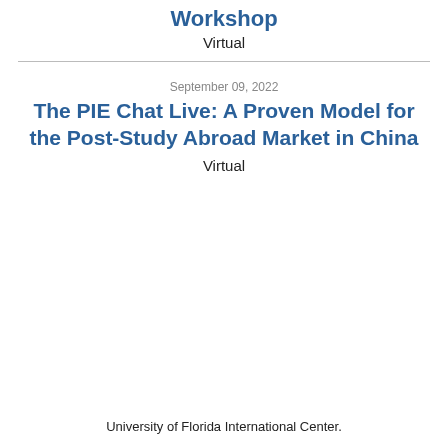Workshop
Virtual
September 09, 2022
The PIE Chat Live: A Proven Model for the Post-Study Abroad Market in China
Virtual
University of Florida International Center.